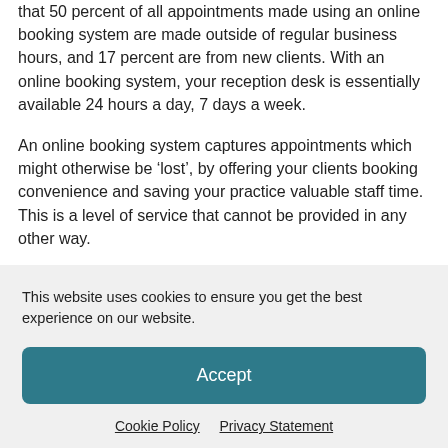that 50 percent of all appointments made using an online booking system are made outside of regular business hours, and 17 percent are from new clients. With an online booking system, your reception desk is essentially available 24 hours a day, 7 days a week.
An online booking system captures appointments which might otherwise be ‘lost’, by offering your clients booking convenience and saving your practice valuable staff time. This is a level of service that cannot be provided in any other way.
This website uses cookies to ensure you get the best experience on our website.
Accept
Cookie Policy   Privacy Statement